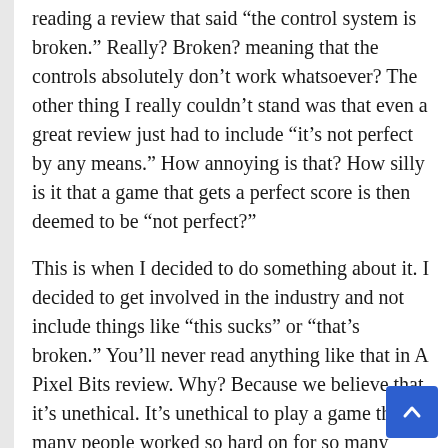reading a review that said “the control system is broken.” Really? Broken? meaning that the controls absolutely don’t work whatsoever? The other thing I really couldn’t stand was that even a great review just had to include “it’s not perfect by any means.” How annoying is that? How silly is it that a game that gets a perfect score is then deemed to be “not perfect?”
This is when I decided to do something about it. I decided to get involved in the industry and not include things like “this sucks” or “that’s broken.” You’ll never read anything like that in A Pixel Bits review. Why? Because we believe that it’s unethical. It’s unethical to play a game that so many people worked so hard on for so many years and simply wipe your butt with it.